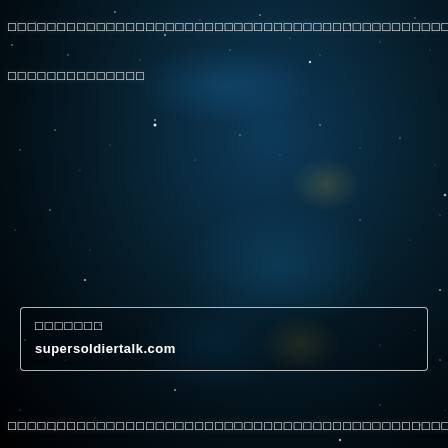□□□□□□□□□□□□□□□□□□□□□□□□□□□□□□□□□□□□□□□□□□□□□AI□□□□□□□□□□
□□□□□□□□□□□□□□
□□□□□□□
supersoldiertalk.com
□□□□□□□□□□□□□□□□□□□□□□□□□□□□□□□□□□□□□□□□□□□□□□□□□□□□□□□□□□□□□□□□□□